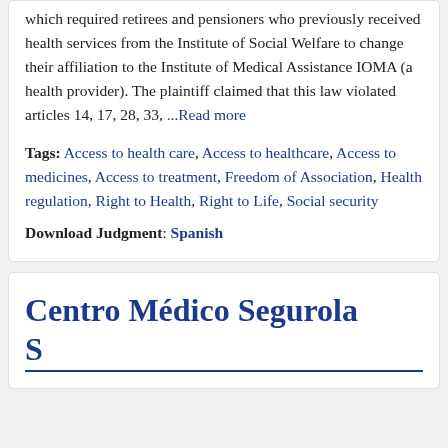which required retirees and pensioners who previously received health services from the Institute of Social Welfare to change their affiliation to the Institute of Medical Assistance IOMA (a health provider). The plaintiff claimed that this law violated articles 14, 17, 28, 33, ...Read more
Tags: Access to health care, Access to healthcare, Access to medicines, Access to treatment, Freedom of Association, Health regulation, Right to Health, Right to Life, Social security
Download Judgment: Spanish
Centro Médico Segurola